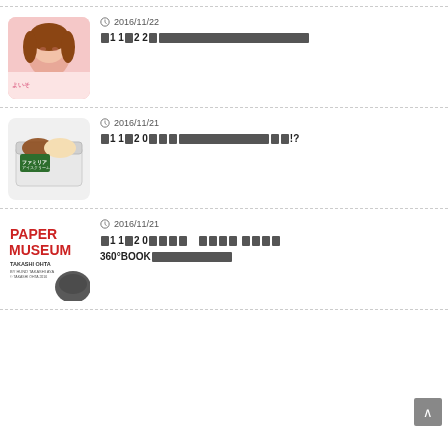[Figure (photo): Thumbnail image of a young woman with brown wavy hair, smiling, with Japanese text overlay]
2016/11/22
×11×22×[redacted text]
[Figure (photo): Thumbnail image of a Familia ice cream container, chocolate and vanilla flavors]
2016/11/21
×11×20×××[redacted text]××!?
[Figure (photo): Thumbnail of PAPER MUSEUM book cover by TAKASHI OHTA]
2016/11/21
×11×20××××[redacted] ×××× 360°BOOK[redacted text]